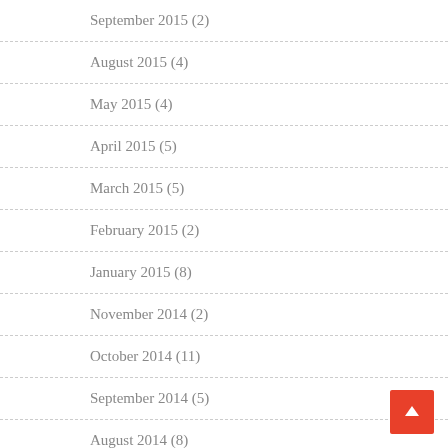September 2015 (2)
August 2015 (4)
May 2015 (4)
April 2015 (5)
March 2015 (5)
February 2015 (2)
January 2015 (8)
November 2014 (2)
October 2014 (11)
September 2014 (5)
August 2014 (8)
July 2014 (7)